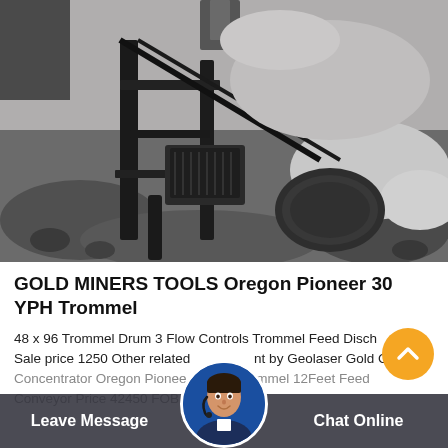[Figure (photo): Aerial/overhead view of heavy mining equipment, a trommel or crushing machine, on a grey rocky surface with dirt and gravel surroundings.]
GOLD MINERS TOOLS Oregon Pioneer 30 YPH Trommel
48 x 96 Trommel Drum 3 Flow Controls Trommel Feed Disch Sale price 1250 Other related ... nt by Geolaser Gold Claimer Concentrator Oregon Pionee... Trommel 12Feet Feed Conveyor Price 42450 FOB